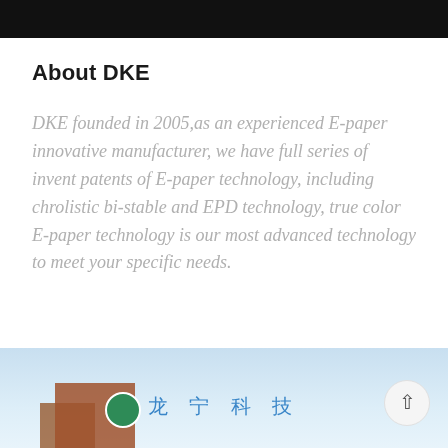About DKE
DKE founded in 2005,as an experienced E-paper innovative manufacturer, we have full series of invent patents of E-paper technology, including chrolistic bi-stable and EPD technology, true color E-paper technology is our most advanced technology to meet your specific needs.
[Figure (photo): Photo of a building/facility with Chinese company name text '龙宁科技' visible, showing a blue sky background with trees and a building facade. A green logo circle is visible. A scroll-to-top button overlays the bottom right corner.]